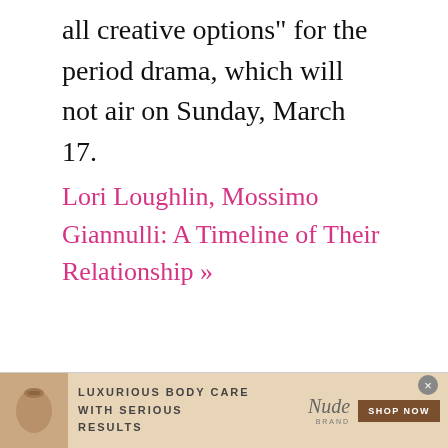all creative options" for the period drama, which will not air on Sunday, March 17.
Lori Loughlin, Mossimo Giannulli: A Timeline of Their Relationship »
[Figure (other): Advertisement banner for Nude brand body care products. Shows a cosmetic product image on the left, text 'LUXURIOUS BODY CARE WITH SERIOUS RESULTS' in the center, the Nude brand logo with cursive script, and a brown 'SHOP NOW' button on the right. A close/X button appears in the top right corner of the ad.]